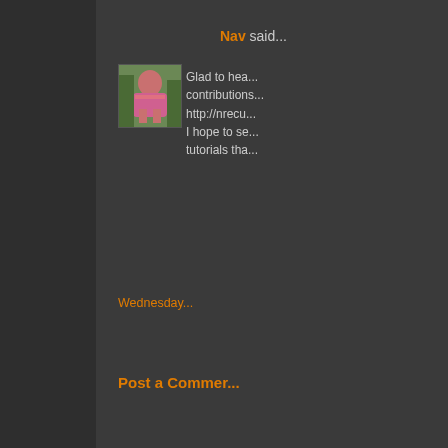Nav said...
[Figure (photo): Avatar photo of Nav - person in pink top with green background]
Glad to hea... contributions... http://nrecu... I hope to se... tutorials tha...
Wednesday...
Post a Commer...
Newer Post
Subscribe to: Post C...
Featured Post
LOL
Continued from the previous LOL page Cars for heroes Share with this link Festivals Share with this link Wil...
[Figure (screenshot): Preview image of a post with grid/table content visible in lower left]
Popula...
[Figure (photo): Green outdoor scene photo in upper right sidebar]